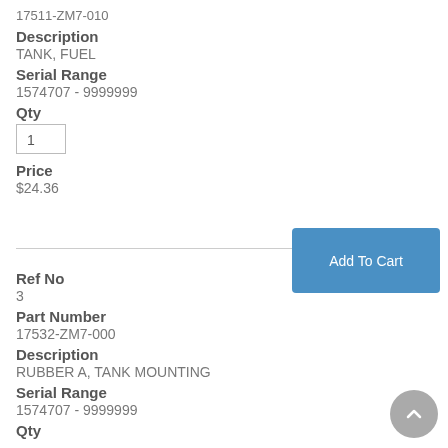17511-ZM7-010
Description
TANK, FUEL
Serial Range
1574707 - 9999999
Qty
1
Price
$24.36
Ref No
3
Part Number
17532-ZM7-000
Description
RUBBER A, TANK MOUNTING
Serial Range
1574707 - 9999999
Qty